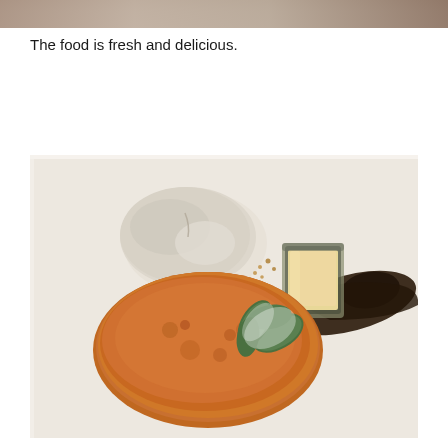[Figure (photo): Partial top edge of a food photo showing a dark background, cropped at the top of the page.]
The food is fresh and delicious.
[Figure (photo): A dessert plate on a white square dish featuring a golden-brown crème brûlée-style pancake garnished with mint leaves dusted in powdered sugar, a scoop of vanilla ice cream with crushed nuts, a small glass of cream/custard sauce, and a smear of dark chocolate sauce.]